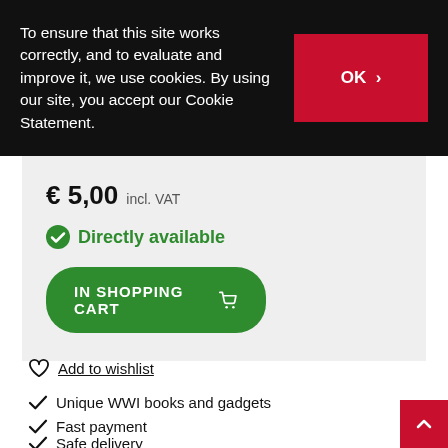To ensure that this site works correctly, and to evaluate and improve it, we use cookies. By using our site, you accept our Cookie Statement.
OK >
€ 5,00 incl. VAT
Directly available
IN SHOPPING CART
Add to wishlist
Unique WWI books and gadgets
Fast payment
Safe delivery